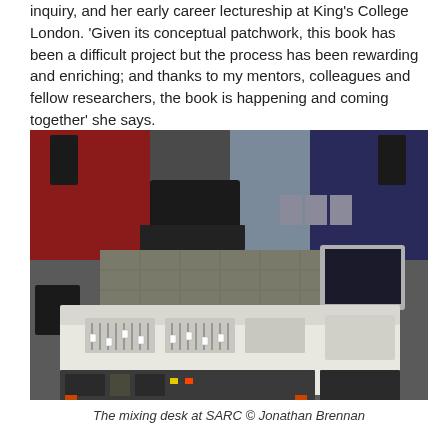inquiry, and her early career lectureship at King's College London. 'Given its conceptual patchwork, this book has been a difficult project but the process has been rewarding and enriching; and thanks to my mentors, colleagues and fellow researchers, the book is happening and coming together' she says.
[Figure (photo): Interior photograph of a professional recording studio showing a large white mixing desk/console in the foreground with multiple faders and controls, a monitor screen on the right side, and a performance space visible in the background with chairs, a grand piano, and colored wall panels (red, blue, grey).]
The mixing desk at SARC © Jonathan Brennan